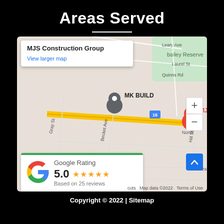Areas Served
[Figure (map): Google Maps embed showing MJS Construction location near Boundary Rd, with MK BUILD marker nearby, street grid including Leary Ave, Laurel St, Gray St, Becket Ave, Caleb St, Elizabeth St, Benina St, Hill St, Wards Grove, Quinns Rd. Red pin labeled MJS Construction, blue pin labeled MK BUILD. Route 16 shown. Bailey Reserve green area visible top right.]
MJS Construction Group
View larger map
Google Rating
5.0 ★★★★★
Based on 25 reviews
Copyright © 2022 | Sitemap